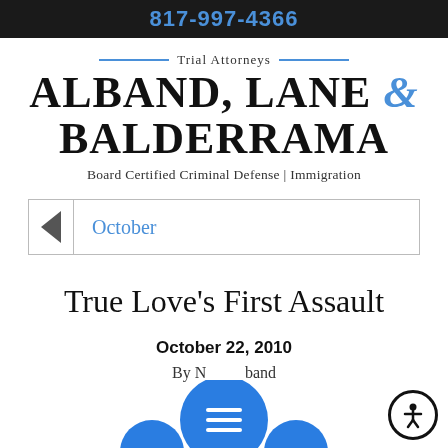817-997-4366
Trial Attorneys
ALBAND, LANE & BALDERRAMA
Board Certified Criminal Defense | Immigration
October
True Love's First Assault
October 22, 2010
By N[...] band